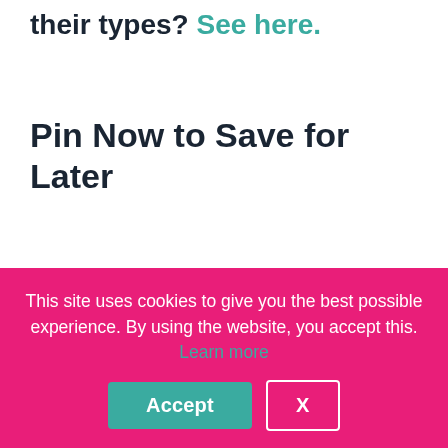their types? See here.
Pin Now to Save for Later
This site uses cookies to give you the best possible experience. By using the website, you accept this. Learn more
Accept
X